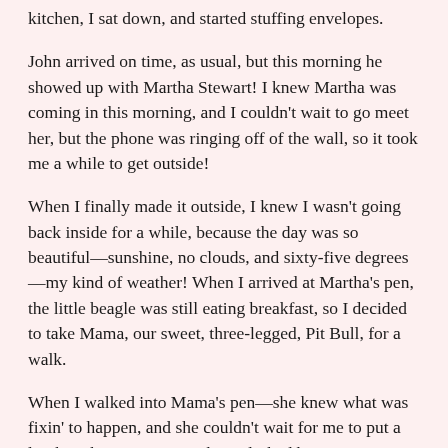kitchen, I sat down, and started stuffing envelopes.
John arrived on time, as usual, but this morning he showed up with Martha Stewart! I knew Martha was coming in this morning, and I couldn't wait to go meet her, but the phone was ringing off of the wall, so it took me a while to get outside!
When I finally made it outside, I knew I wasn't going back inside for a while, because the day was so beautiful—sunshine, no clouds, and sixty-five degrees—my kind of weather! When I arrived at Martha's pen, the little beagle was still eating breakfast, so I decided to take Mama, our sweet, three-legged, Pit Bull, for a walk.
When I walked into Mama's pen—she knew what was fixin' to happen, and she couldn't wait for me to put a leash on her. As soon as she and I had become one, we took off for our walk. Once outside the rescue ranch, we took a right, and headed west, on the caliche road.
Mama walked beside me, as we slowly descended the steep hill, down to Wallace Creek. When we arrived at the creek, Mama always...